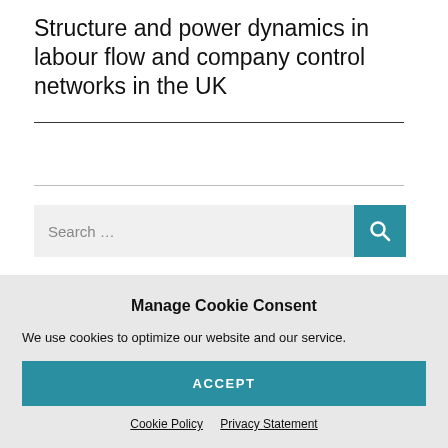Structure and power dynamics in labour flow and company control networks in the UK
Search ...
Manage Cookie Consent
We use cookies to optimize our website and our service.
ACCEPT
Cookie Policy   Privacy Statement